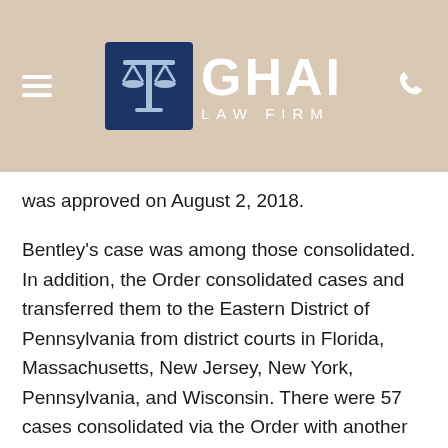GHAI LAW FIRM
was approved on August 2, 2018.
Bentley's case was among those consolidated. In addition, the Order consolidated cases and transferred them to the Eastern District of Pennsylvania from district courts in Florida, Massachusetts, New Jersey, New York, Pennsylvania, and Wisconsin. There were 57 cases consolidated via the Order with another 41 pending cases likely to be added to the list from other federal district courts. In all cases, the various plaintiffs asserted that medical complications resulted shortly after they